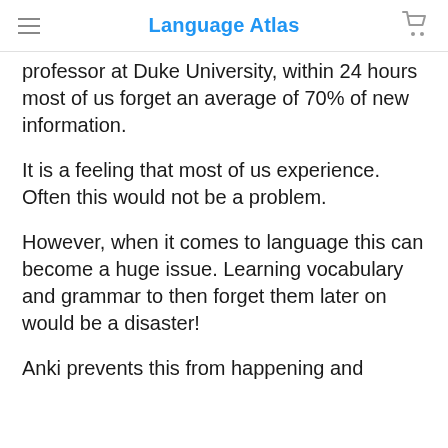Language Atlas
professor at Duke University, within 24 hours most of us forget an average of 70% of new information.
It is a feeling that most of us experience. Often this would not be a problem.
However, when it comes to language this can become a huge issue. Learning vocabulary and grammar to then forget them later on would be a disaster!
Anki prevents this from happening and